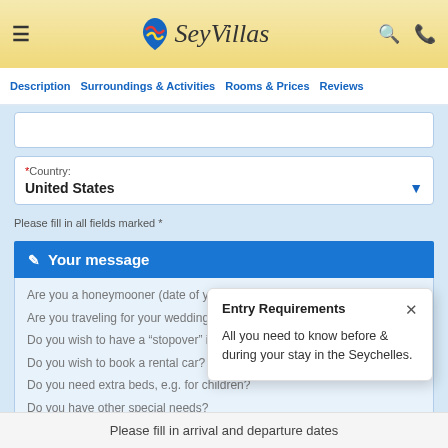SeyVillas
Description   Surroundings & Activities   Rooms & Prices   Reviews
*Country: United States
Please fill in all fields marked *
Your message
Are you a honeymooner (date of your wedding)?
Are you traveling for your wedding day (date
Do you wish to have a "stopover" in Abu Dha
Do you wish to book a rental car?
Do you need extra beds, e.g. for children?
Do you have other special needs?
Entry Requirements
All you need to know before & during your stay in the Seychelles.
Please fill in arrival and departure dates